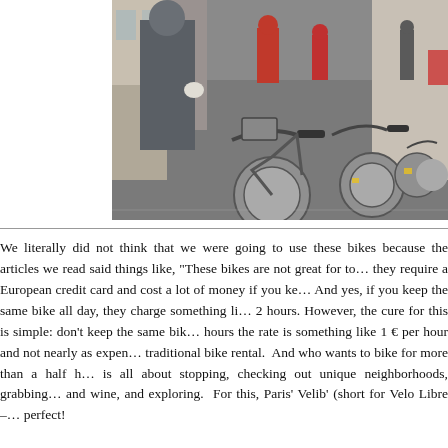[Figure (photo): A row of Velib' bicycle-sharing bikes parked along a Paris street. A person in a grey coat and white gloves stands next to the bikes. Other pedestrians visible in the background on the cobblestone street.]
We literally did not think that we were going to use these bikes because the articles we read said things like, "These bikes are not great for to... they require a European credit card and cost a lot of money if you ke... And yes, if you keep the same bike all day, they charge something li... 2 hours. However, the cure for this is simple: don't keep the same bik... hours the rate is something like 1 € per hour and not nearly as expen... traditional bike rental.  And who wants to bike for more than a half h... is all about stopping, checking out unique neighborhoods, grabbing ... and wine, and exploring.  For this, Paris' Velib' (short for Velo Libre – ... perfect!